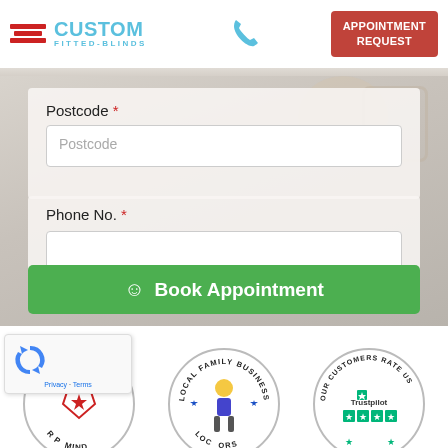[Figure (logo): Custom Fitted-Blinds logo with red horizontal stripes and blue text]
[Figure (logo): Phone icon in blue]
[Figure (other): Appointment Request button in red]
Postcode *
Postcode (placeholder text in input field)
Phone No. *
Book Appointment (button)
[Figure (other): Guarantee badge circle with text and red ribbon icon]
[Figure (other): Local Family Business badge circle with cartoon person]
[Figure (other): Our Customers Rate Us badge with Trustpilot green stars]
[Figure (other): reCAPTCHA privacy widget overlay at bottom left]